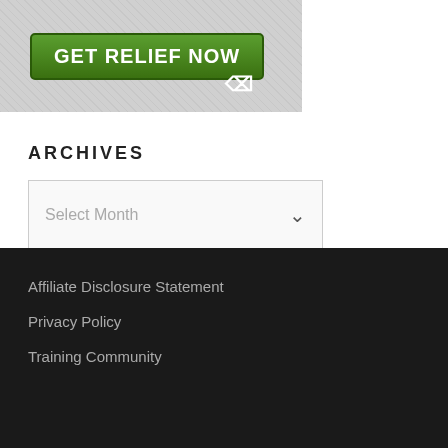[Figure (screenshot): A green button labeled GET RELIEF NOW with a cursor pointer icon, shown on a gray patterned background]
ARCHIVES
[Figure (screenshot): A dropdown select box with placeholder text 'Select Month' and a chevron arrow on the right]
Affiliate Disclosure Statement
Privacy Policy
Training Community